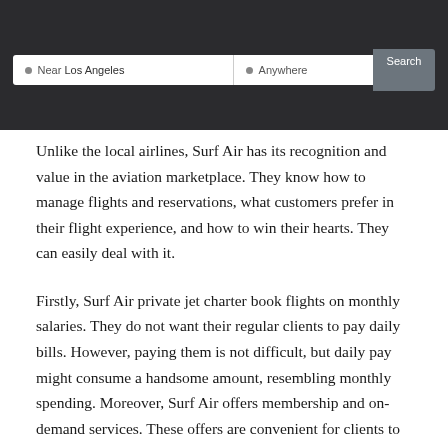[Figure (screenshot): A dark-themed search interface showing a search bar with 'Near Los Angeles' in the left field, 'Anywhere' in the right field, and a 'Search' button on the right.]
Unlike the local airlines, Surf Air has its recognition and value in the aviation marketplace. They know how to manage flights and reservations, what customers prefer in their flight experience, and how to win their hearts. They can easily deal with it.
Firstly, Surf Air private jet charter book flights on monthly salaries. They do not want their regular clients to pay daily bills. However, paying them is not difficult, but daily pay might consume a handsome amount, resembling monthly spending. Moreover, Surf Air offers membership and on-demand services. These offers are convenient for clients to get instant reservations. Otherwise, there are plenty of jet charters that do not accept sudden bookings. Only Surf Air is the one who desperately wants their clients to be happy with their services.